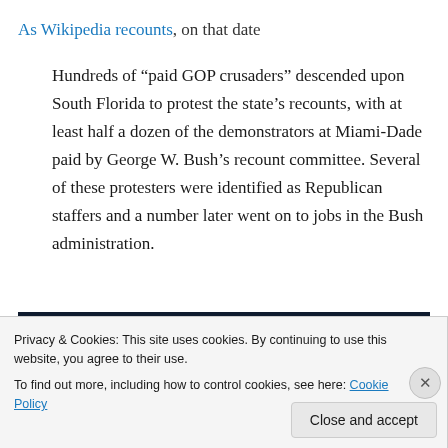As Wikipedia recounts, on that date
Hundreds of “paid GOP crusaders” descended upon South Florida to protest the state’s recounts, with at least half a dozen of the demonstrators at Miami-Dade paid by George W. Bush’s recount committee. Several of these protesters were identified as Republican staffers and a number later went on to jobs in the Bush administration.
[Figure (screenshot): Partial screenshot of a webpage with dark navy background, a pink/magenta horizontal bar element on the left and a light grey circle on the right]
Privacy & Cookies: This site uses cookies. By continuing to use this website, you agree to their use.
To find out more, including how to control cookies, see here: Cookie Policy
Close and accept